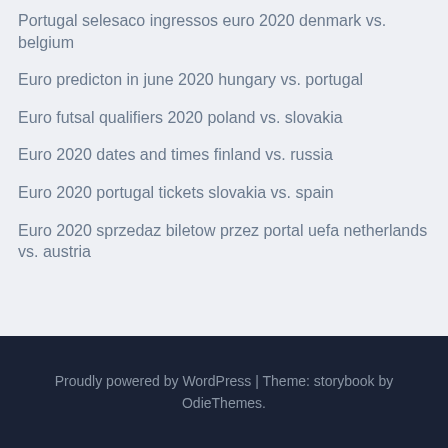Portugal selesaco ingressos euro 2020 denmark vs. belgium
Euro predicton in june 2020 hungary vs. portugal
Euro futsal qualifiers 2020 poland vs. slovakia
Euro 2020 dates and times finland vs. russia
Euro 2020 portugal tickets slovakia vs. spain
Euro 2020 sprzedaz biletow przez portal uefa netherlands vs. austria
Proudly powered by WordPress | Theme: storybook by OdieThemes.